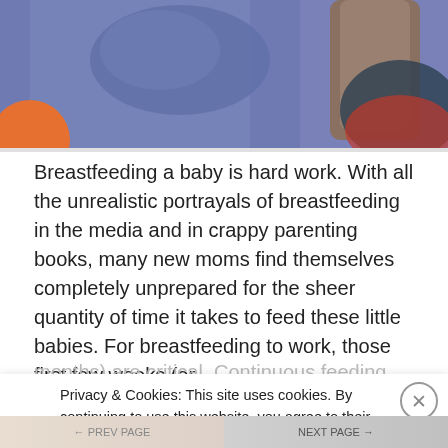[Figure (photo): Top portion of a photo showing a person wearing a purple/blue wrap or sling, with an orange ball and colorful artwork visible in the background]
Breastfeeding a baby is hard work. With all the unrealistic portrayals of breastfeeding in the media and in crappy parenting books, many new moms find themselves completely unprepared for the sheer quantity of time it takes to feed these little babies. For breastfeeding to work, those first few weeks (er
Privacy & Cookies: This site uses cookies. By continuing to use this website, you agree to their use.
To find out more, including how to control cookies, see here:
Cookie Policy
Close and accept